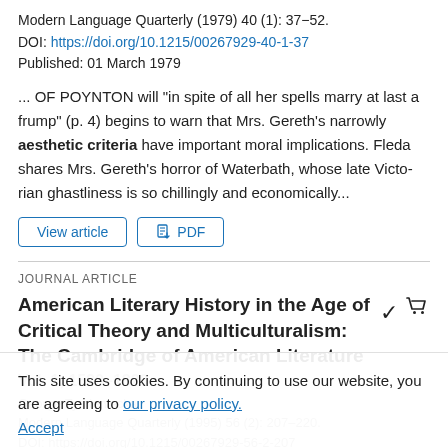Modern Language Quarterly (1979) 40 (1): 37–52.
DOI: https://doi.org/10.1215/00267929-40-1-37
Published: 01 March 1979
... OF POYNTON will "in spite of all her spells marry at last a frump" (p. 4) begins to warn that Mrs. Gereth's narrowly aesthetic criteria have important moral implications. Fleda shares Mrs. Gereth's horror of Waterbath, whose late Victo- rian ghastliness is so chillingly and economically...
View article  PDF
JOURNAL ARTICLE
American Literary History in the Age of Critical Theory and Multiculturalism: The Cambridge of American Literature Vol. 1, 1590–1820
This site uses cookies. By continuing to use our website, you are agreeing to our privacy policy. Accept